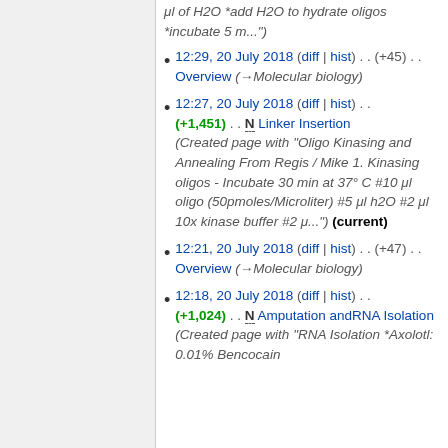μl of H2O *add H2O to hydrate oligos *incubate 5 m...")
12:29, 20 July 2018 (diff | hist) . . (+45) . . Overview (→Molecular biology)
12:27, 20 July 2018 (diff | hist) . . (+1,451) . . N Linker Insertion (Created page with "Oligo Kinasing and Annealing From Regis / Mike 1. Kinasing oligos - Incubate 30 min at 37° C #10 μl oligo (50pmoles/Microliter) #5 μl h2O #2 μl 10x kinase buffer #2 μ...") (current)
12:21, 20 July 2018 (diff | hist) . . (+47) . . Overview (→Molecular biology)
12:18, 20 July 2018 (diff | hist) . . (+1,024) . . N Amputation andRNA Isolation (Created page with "RNA Isolation *Axolotl: 0.01% Bencocain